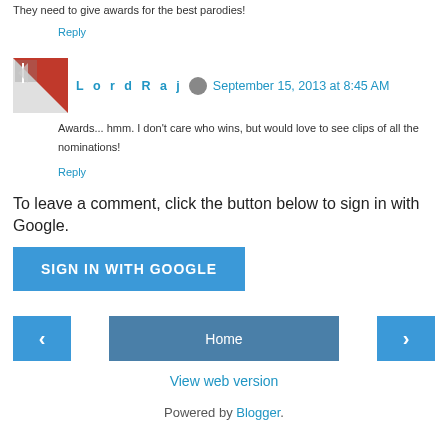They need to give awards for the best parodies!
Reply
LordRaj  September 15, 2013 at 8:45 AM
Awards... hmm. I don't care who wins, but would love to see clips of all the nominations!
Reply
To leave a comment, click the button below to sign in with Google.
SIGN IN WITH GOOGLE
Home
View web version
Powered by Blogger.